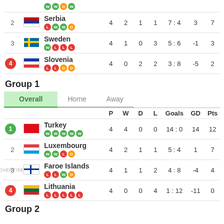| # | Team | P | W | D | L | Goals | GD | Pts |
| --- | --- | --- | --- | --- | --- | --- | --- | --- |
| 2 | Serbia | 4 | 2 | 1 | 1 | 7:4 | 3 | 7 |
| 3 | Sweden | 4 | 1 | 0 | 3 | 5:6 | -1 | 3 |
| 4 | Slovenia | 4 | 0 | 2 | 2 | 3:8 | -5 | 2 |
Group 1
| # | Team | P | W | D | L | Goals | GD | Pts |
| --- | --- | --- | --- | --- | --- | --- | --- | --- |
| 1 | Turkey | 4 | 4 | 0 | 0 | 14:0 | 14 | 12 |
| 2 | Luxembourg | 4 | 2 | 1 | 1 | 5:4 | 1 | 7 |
| 3 | Faroe Islands | 4 | 1 | 1 | 2 | 4:8 | -4 | 4 |
| 4 | Lithuania | 4 | 0 | 0 | 4 | 1:12 | -11 | 0 |
Group 2